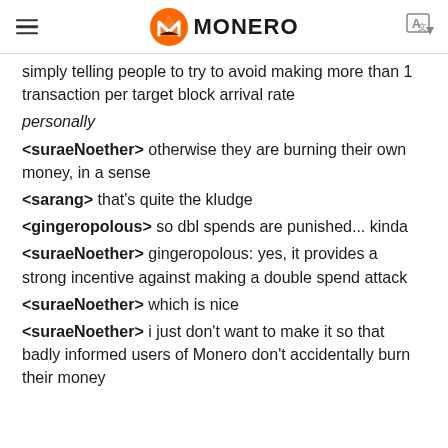MONERO
simply telling people to try to avoid making more than 1 transaction per target block arrival rate
personally
<suraeNoether> otherwise they are burning their own money, in a sense
<sarang> that's quite the kludge
<gingeropolous> so dbl spends are punished... kinda
<suraeNoether> gingeropolous: yes, it provides a strong incentive against making a double spend attack
<suraeNoether> which is nice
<suraeNoether> i just don't want to make it so that badly informed users of Monero don't accidentally burn their money